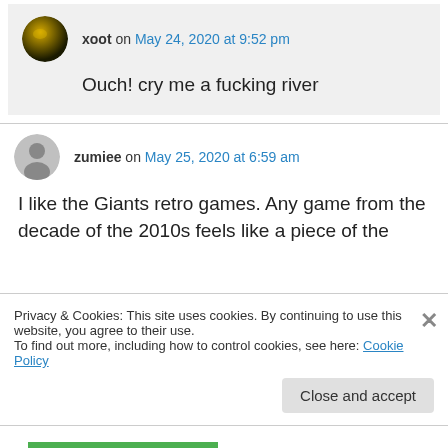xoot on May 24, 2020 at 9:52 pm
Ouch! cry me a fucking river
zumiee on May 25, 2020 at 6:59 am
I like the Giants retro games. Any game from the decade of the 2010s feels like a piece of the
Privacy & Cookies: This site uses cookies. By continuing to use this website, you agree to their use.
To find out more, including how to control cookies, see here: Cookie Policy
Close and accept